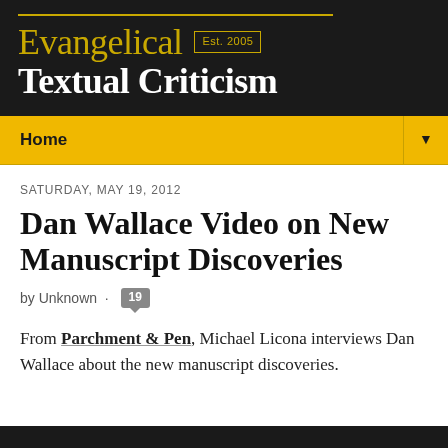Evangelical Textual Criticism · Est. 2005
Home
SATURDAY, MAY 19, 2012
Dan Wallace Video on New Manuscript Discoveries
by Unknown · 19
From Parchment & Pen, Michael Licona interviews Dan Wallace about the new manuscript discoveries.
[Figure (screenshot): Dark video thumbnail strip at bottom of page]